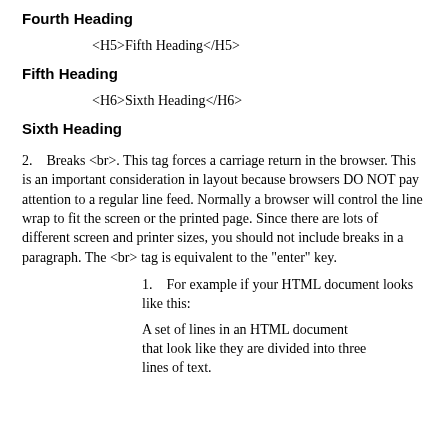Fourth Heading
<H5>Fifth Heading</H5>
Fifth Heading
<H6>Sixth Heading</H6>
Sixth Heading
2.    Breaks <br>. This tag forces a carriage return in the browser. This is an important consideration in layout because browsers DO NOT pay attention to a regular line feed. Normally a browser will control the line wrap to fit the screen or the printed page. Since there are lots of different screen and printer sizes, you should not include breaks in a paragraph. The <br> tag is equivalent to the "enter" key.
1.    For example if your HTML document looks like this:
A set of lines in an HTML document that look like they are divided into three lines of text.